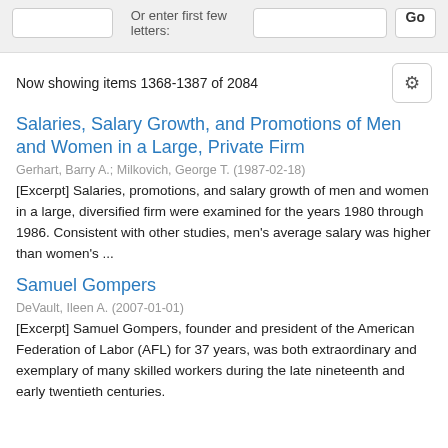Now showing items 1368-1387 of 2084
Salaries, Salary Growth, and Promotions of Men and Women in a Large, Private Firm
Gerhart, Barry A.; Milkovich, George T. (1987-02-18)
[Excerpt] Salaries, promotions, and salary growth of men and women in a large, diversified firm were examined for the years 1980 through 1986. Consistent with other studies, men's average salary was higher than women's ...
Samuel Gompers
DeVault, Ileen A. (2007-01-01)
[Excerpt] Samuel Gompers, founder and president of the American Federation of Labor (AFL) for 37 years, was both extraordinary and exemplary of many skilled workers during the late nineteenth and early twentieth centuries.